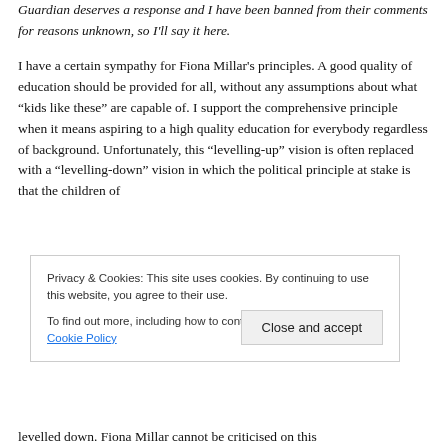Guardian deserves a response and I have been banned from their comments for reasons unknown, so I'll say it here.
I have a certain sympathy for Fiona Millar's principles. A good quality of education should be provided for all, without any assumptions about what "kids like these" are capable of. I support the comprehensive principle when it means aspiring to a high quality education for everybody regardless of background. Unfortunately, this "levelling-up" vision is often replaced with a "levelling-down" vision in which the political principle at stake is that the children of
Privacy & Cookies: This site uses cookies. By continuing to use this website, you agree to their use.
To find out more, including how to control cookies, see here: Cookie Policy
levelled down. Fiona Millar cannot be criticised on this